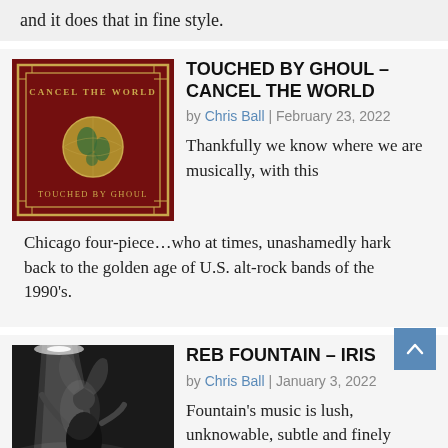and it does that in fine style.
TOUCHED BY GHOUL – CANCEL THE WORLD
by Chris Ball | February 23, 2022
[Figure (photo): Album cover for 'Cancel the World' by Touched by Ghoul — dark red background with gold decorative border, globe illustration, and text in gold lettering.]
Thankfully we know where we are musically, with this Chicago four-piece…who at times, unashamedly hark back to the golden age of U.S. alt-rock bands of the 1990's.
REB FOUNTAIN – IRIS
by Chris Ball | January 3, 2022
[Figure (photo): Black and white photo of a performer on stage, dramatic spotlight, hair flowing.]
Fountain's music is lush, unknowable, subtle and finely